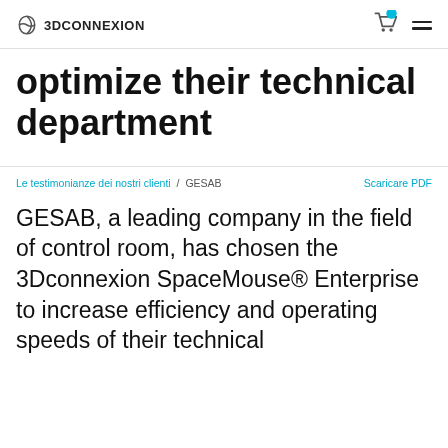3dconnexion
optimize their technical department
Le testimonianze dei nostri clienti / GESAB    Scaricare PDF
GESAB, a leading company in the field of control room, has chosen the 3Dconnexion SpaceMouse® Enterprise to increase efficiency and operating speeds of their technical